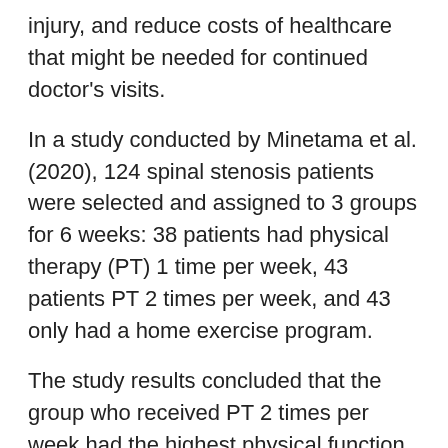injury, and reduce costs of healthcare that might be needed for continued doctor's visits.
In a study conducted by Minetama et al. (2020), 124 spinal stenosis patients were selected and assigned to 3 groups for 6 weeks: 38 patients had physical therapy (PT) 1 time per week, 43 patients PT 2 times per week, and 43 only had a home exercise program.
The study results concluded that the group who received PT 2 times per week had the highest physical function questionnaire scores, lowest symptom severity, and least amount of gait disturbances compared to the other 2 groups. Therefore, receiving PT at least 2 times per week resulted in the most significant short-term